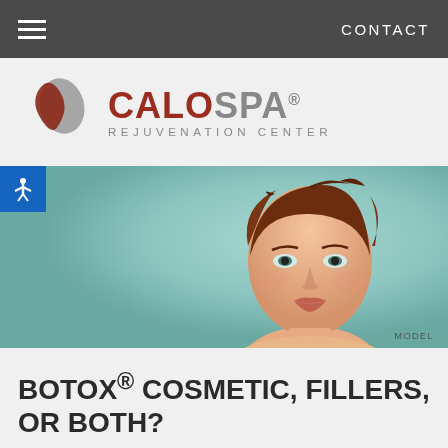CONTACT
[Figure (logo): CaloSpa Rejuvenation Center logo with two overlapping leaf/teardrop shapes in gray and dark red, and bold text CALOSPA® REJUVENATION CENTER]
[Figure (photo): Hero banner image of a young woman with auburn upswept hair against a teal/mint green background, labeled MODEL in the bottom right corner. Blue accessibility icon button in top left corner.]
BOTOX® COSMETIC, FILLERS, OR BOTH?